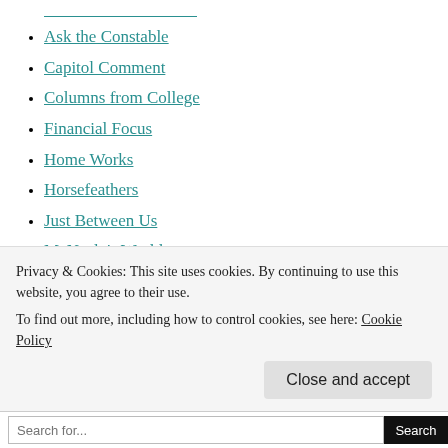Ask the Constable
Capitol Comment
Columns from College
Financial Focus
Home Works
Horsefeathers
Just Between Us
McNeely's World
Outdoors
Penny for Your Thoughts
Poet's Corner
Touch of Life
Two Cents' Worth
Privacy & Cookies: This site uses cookies. By continuing to use this website, you agree to their use.
To find out more, including how to control cookies, see here: Cookie Policy
Close and accept
Search for...